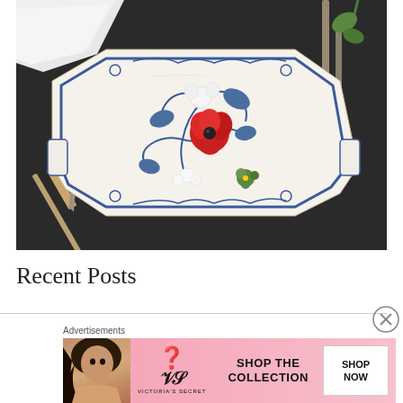[Figure (photo): Vintage blue and white floral ceramic serving dish with red flower detail and handles, photographed from above on a dark wooden surface, surrounded by silverware/cutlery with wooden handles, a white linen cloth, and a green plant sprig.]
Recent Posts
[Figure (screenshot): Victoria's Secret advertisement banner. Pink gradient background. Left side shows a woman model. Center has stylized VS logo with 'VICTORIA'S SECRET' text. Right side has text 'SHOP THE COLLECTION' in bold and a white button with 'SHOP NOW'.]